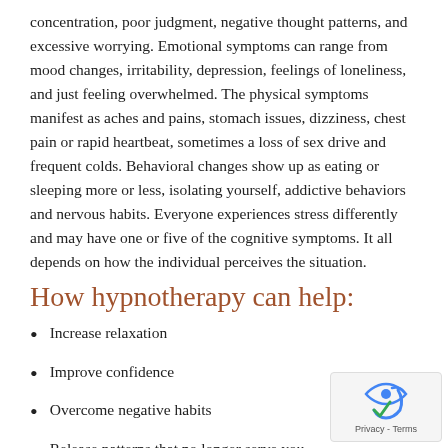concentration, poor judgment, negative thought patterns, and excessive worrying. Emotional symptoms can range from mood changes, irritability, depression, feelings of loneliness, and just feeling overwhelmed. The physical symptoms manifest as aches and pains, stomach issues, dizziness, chest pain or rapid heartbeat, sometimes a loss of sex drive and frequent colds. Behavioral changes show up as eating or sleeping more or less, isolating yourself, addictive behaviors and nervous habits. Everyone experiences stress differently and may have one or five of the cognitive symptoms. It all depends on how the individual perceives the situation.
How hypnotherapy can help:
Increase relaxation
Improve confidence
Overcome negative habits
Release patterns that no longer serve you
Coping mechanisms